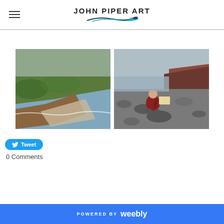JOHN PIPER ART
[Figure (photo): Aerial view of a coastal landscape with green cliffs, a bay, and the sea]
[Figure (photo): A person sitting on a rocky beach painting, with reddish cliffs in the background]
Tweet
0 Comments
POWERED BY weebly